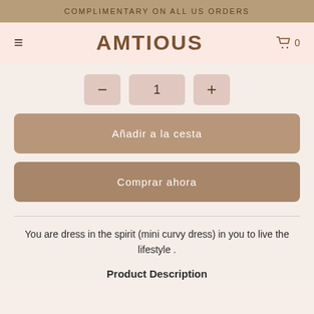COMPLIMENTARY ON ALL US ORDERS
AMTIOUS
[Figure (screenshot): Quantity selector with minus button, value 1, and plus button]
Añadir a la cesta
Comprar ahora
You are dress in the spirit (mini curvy dress) in you to live the lifestyle .
Product Description